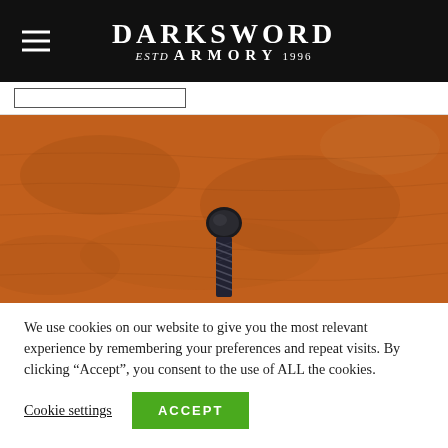Darksword Armory ESTD 1996
[Figure (photo): Close-up of rich brown/orange leather texture with a dark metal sword pommel visible in the center foreground]
We use cookies on our website to give you the most relevant experience by remembering your preferences and repeat visits. By clicking “Accept”, you consent to the use of ALL the cookies.
Cookie settings   ACCEPT